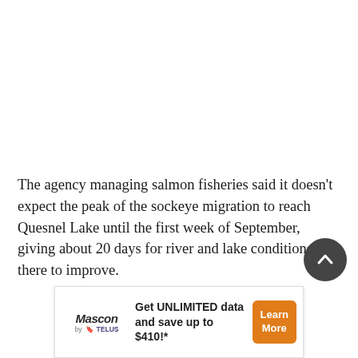The agency managing salmon fisheries said it doesn't expect the peak of the sockeye migration to reach Quesnel Lake until the first week of September, giving about 20 days for river and lake conditions there to improve.
In a news release issued Friday it also noted the “encouraging results” of initial water quality tests released by the province is a cause for optimism.
But the commission cautioned there are also juvenile sockeye currently rearing in the lake and it’s too soon to tell
[Figure (infographic): Advertisement banner for Mascon by Telus: Get UNLIMITED data and save up to $410!* with a Learn More button]